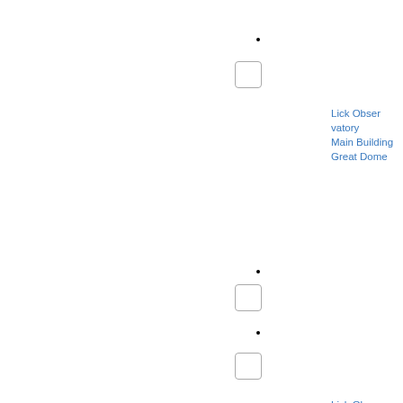[Figure (other): Placeholder thumbnail box with dot marker for image 1]
Lick Observatory Main Building Great Dome
[Figure (other): Placeholder thumbnail box with dot marker for image 2]
Lick Observatory dome atop summit
[Figure (other): Placeholder thumbnail box with dot marker for image 3]
View of Lick Observatory